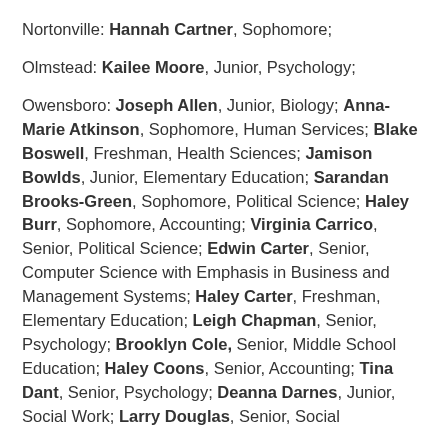Nortonville: Hannah Cartner, Sophomore;
Olmstead: Kailee Moore, Junior, Psychology;
Owensboro: Joseph Allen, Junior, Biology; Anna-Marie Atkinson, Sophomore, Human Services; Blake Boswell, Freshman, Health Sciences; Jamison Bowlds, Junior, Elementary Education; Sarandan Brooks-Green, Sophomore, Political Science; Haley Burr, Sophomore, Accounting; Virginia Carrico, Senior, Political Science; Edwin Carter, Senior, Computer Science with Emphasis in Business and Management Systems; Haley Carter, Freshman, Elementary Education; Leigh Chapman, Senior, Psychology; Brooklyn Cole, Senior, Middle School Education; Haley Coons, Senior, Accounting; Tina Dant, Senior, Psychology; Deanna Darnes, Junior, Social Work; Larry Douglas, Senior, Social Work; [continues]